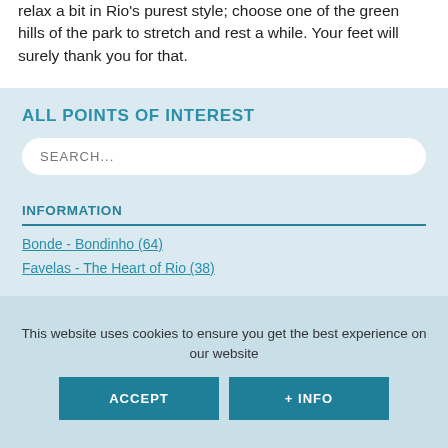relax a bit in Rio's purest style; choose one of the green hills of the park to stretch and rest a while. Your feet will surely thank you for that.
ALL POINTS OF INTEREST
SEARCH...
INFORMATION
Bonde - Bondinho (64)
Favelas - The Heart of Rio (38)
This website uses cookies to ensure you get the best experience on our website
ACCEPT
+ INFO